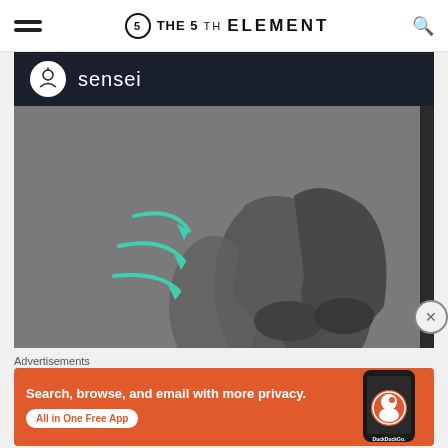THE 5TH ELEMENT
[Figure (illustration): Sensei branded advertisement image showing a close-up 3D render of ballet dancer feet/shoes in gray, with teal/green curved arrows overlaid on the image. Dark blue brand bar at top with Sensei logo and name.]
Advertisements
[Figure (illustration): DuckDuckGo advertisement banner with orange background. Left side shows white bold text: 'Search, browse, and email with more privacy.' with a white pill button 'All in One Free App'. Right side shows a smartphone with DuckDuckGo logo and text 'DuckDuckGo.']